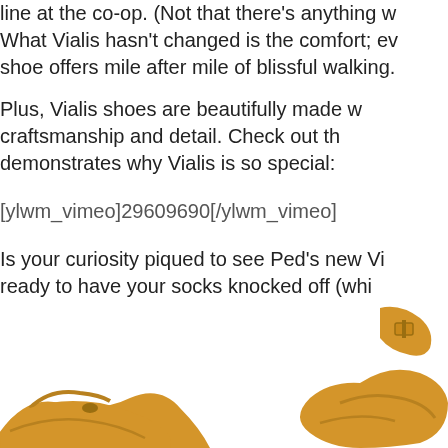line at the co-op. (Not that there's anything w… What Vialis hasn't changed is the comfort; ev… shoe offers mile after mile of blissful walking.
Plus, Vialis shoes are beautifully made w… craftsmanship and detail. Check out th… demonstrates why Vialis is so special:
[ylwm_vimeo]29609690[/ylwm_vimeo]
Is your curiosity piqued to see Ped's new Vi… ready to have your socks knocked off (whi… because every pair feels fantastic barefoot)!
Let's get this party started with a style that's b… sexy, Vialis' Mimi:
[Figure (photo): Yellow/mustard colored Vialis Mimi sandal shoes partially visible at the bottom of the page]